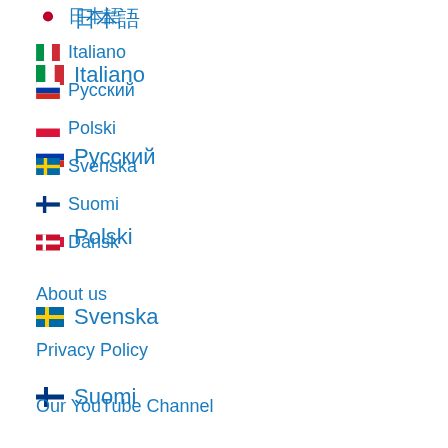日本語
Italiano
Русский
Polski
Svenska
Suomi
Dansk
About us
Privacy Policy
Our YouTube Channel